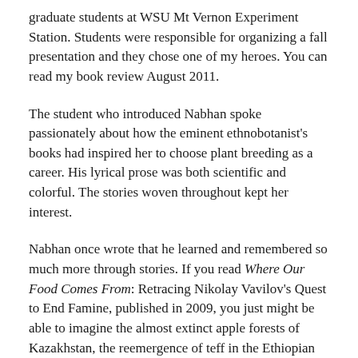graduate students at WSU Mt Vernon Experiment Station. Students were responsible for organizing a fall presentation and they chose one of my heroes. You can read my book review August 2011.
The student who introduced Nabhan spoke passionately about how the eminent ethnobotanist's books had inspired her to choose plant breeding as a career. His lyrical prose was both scientific and colorful. The stories woven throughout kept her interest.
Nabhan once wrote that he learned and remembered so much more through stories. If you read Where Our Food Comes From: Retracing Nikolay Vavilov's Quest to End Famine, published in 2009, you just might be able to imagine the almost extinct apple forests of Kazakhstan, the reemergence of teff in the Ethiopian highlands, and the magnificent Pamir Mountains where climate change is having dramatic effects on which grain varieties farmers can cultivate.